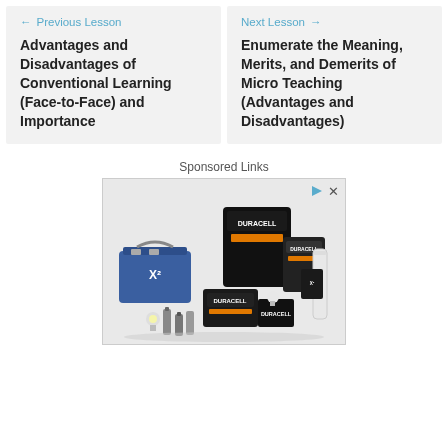← Previous Lesson
Advantages and Disadvantages of Conventional Learning (Face-to-Face) and Importance
Next Lesson →
Enumerate the Meaning, Merits, and Demerits of Micro Teaching (Advantages and Disadvantages)
Sponsored Links
[Figure (photo): Advertisement showing Duracell batteries of various sizes including car batteries, and smaller consumer batteries arranged on a surface]